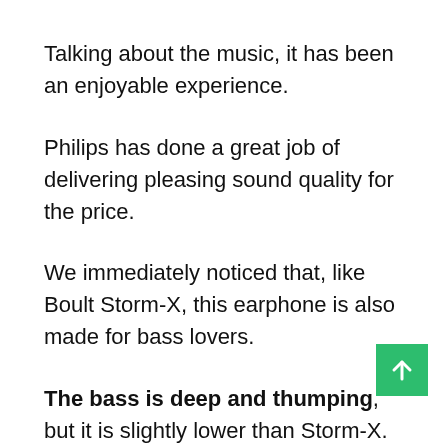Talking about the music, it has been an enjoyable experience.
Philips has done a great job of delivering pleasing sound quality for the price.
We immediately noticed that, like Boult Storm-X, this earphone is also made for bass lovers.
The bass is deep and thumping, but it is slightly lower than Storm-X. It doesn't distort at high volumes and remains pleasant all the time.
This earphone delivers high bass, but other